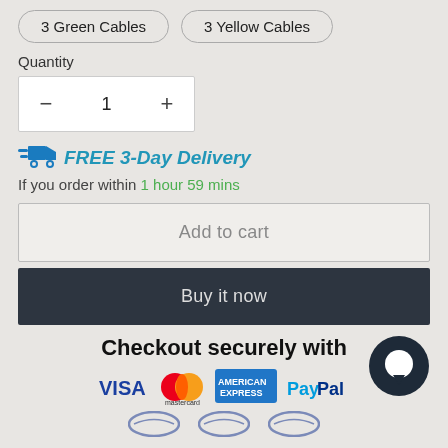3 Green Cables
3 Yellow Cables
Quantity
− 1 +
FREE 3-Day Delivery
If you order within 1 hour 59 mins
Add to cart
Buy it now
Checkout securely with
[Figure (logo): Payment logos: VISA, Mastercard, American Express, PayPal, and a chat bubble icon]